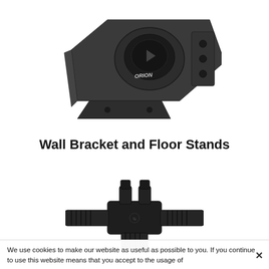[Figure (photo): Dark grey metal wall bracket mounting plate with circular opening, Orion logo, and mounting holes, photographed at an angle on white background.]
Wall Bracket and Floor Stands
[Figure (photo): Black plastic plumbing connector/manifold with multiple threaded ports and two small inlet tubes on top, photographed on white background.]
We use cookies to make our website as useful as possible to you. If you continue to use this website means that you accept to the usage of